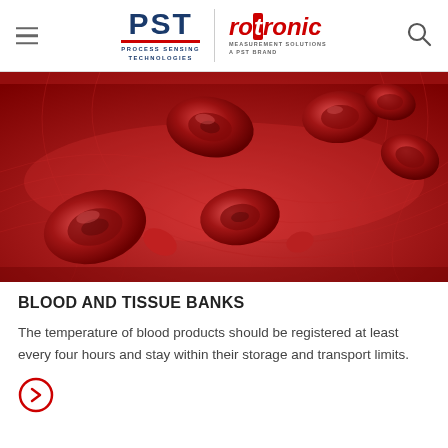PST Process Sensing Technologies | rotronic MEASUREMENT SOLUTIONS A PST BRAND
[Figure (photo): Macro scientific illustration of red blood cells (erythrocytes) flowing inside a blood vessel, showing detailed cellular structures against a vivid red background.]
BLOOD AND TISSUE BANKS
The temperature of blood products should be registered at least every four hours and stay within their storage and transport limits.